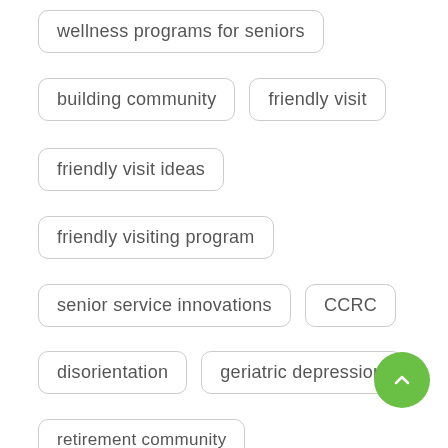wellness programs for seniors
building community
friendly visit
friendly visit ideas
friendly visiting program
senior service innovations
CCRC
disorientation
geriatric depression
retirement community
brain fitness programming
retirement communities and brain fitness
retirement communities and wellness